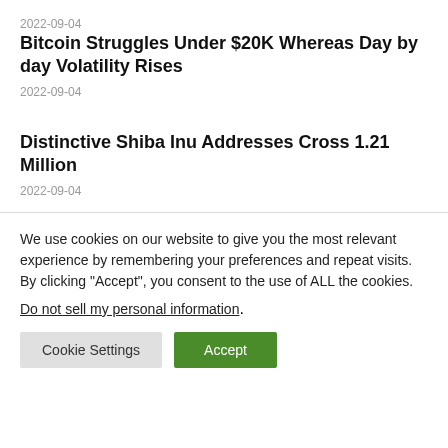2022-09-04
Bitcoin Struggles Under $20K Whereas Day by day Volatility Rises
2022-09-04
Distinctive Shiba Inu Addresses Cross 1.21 Million
2022-09-04
We use cookies on our website to give you the most relevant experience by remembering your preferences and repeat visits. By clicking “Accept”, you consent to the use of ALL the cookies.
Do not sell my personal information.